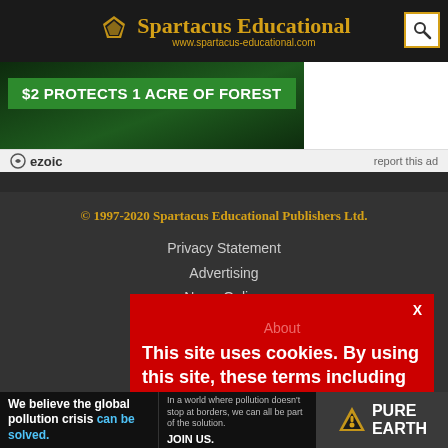Spartacus Educational — www.spartacus-educational.com
[Figure (infographic): Advertisement banner: '$2 PROTECTS 1 ACRE OF FOREST' in white text on green background, with dark forest imagery]
ezoic   report this ad
© 1997-2020 Spartacus Educational Publishers Ltd.
Privacy Statement
Advertising
News Online
Written by John Simkin
About
Newsletter
This site uses cookies. By using this site, these terms including the use of cookies are accepted. More explanation can be found in our
[Figure (infographic): Pure Earth advertisement: 'We believe the global pollution crisis can be solved.' with Pure Earth logo]